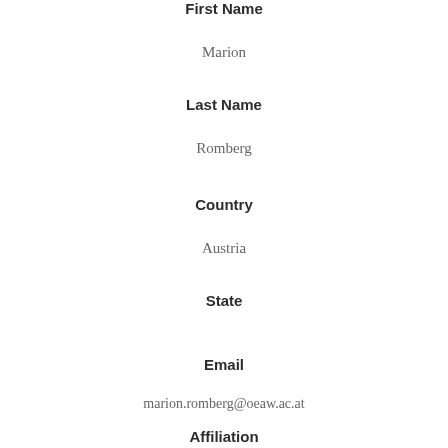First Name
Marion
Last Name
Romberg
Country
Austria
State
Email
marion.romberg@oeaw.ac.at
Affiliation